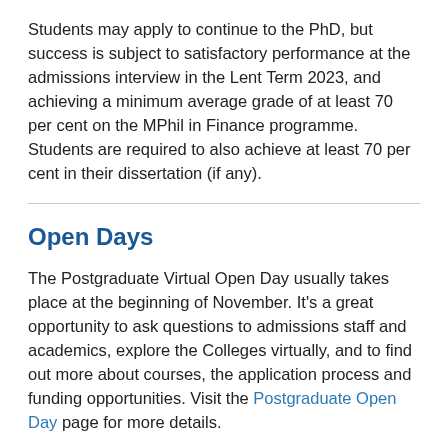Students may apply to continue to the PhD, but success is subject to satisfactory performance at the admissions interview in the Lent Term 2023, and achieving a minimum average grade of at least 70 per cent on the MPhil in Finance programme. Students are required to also achieve at least 70 per cent in their dissertation (if any).
Open Days
The Postgraduate Virtual Open Day usually takes place at the beginning of November. It's a great opportunity to ask questions to admissions staff and academics, explore the Colleges virtually, and to find out more about courses, the application process and funding opportunities. Visit the Postgraduate Open Day page for more details.
Cambridge Judge Business School also hosts Experience Days throughout the year. Please see Cambridge Judge Business School wide-events page for further information.